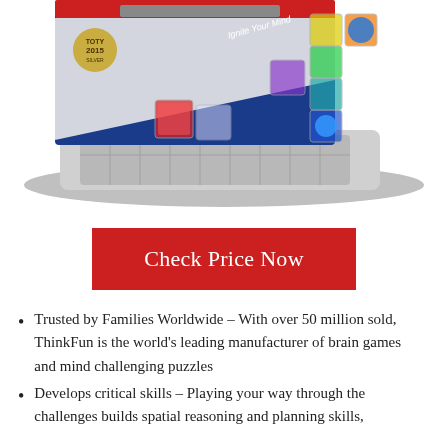[Figure (photo): Product photo of a ThinkFun brain game puzzle with colorful transparent cubes stacked on a silver grid board, with TOTY 2015 award badge visible on the box packaging. Text 'Ignite Your Mind' visible on package.]
Check Price Now
Trusted by Families Worldwide – With over 50 million sold, ThinkFun is the world's leading manufacturer of brain games and mind challenging puzzles
Develops critical skills – Playing your way through the challenges builds spatial reasoning and planning skills,